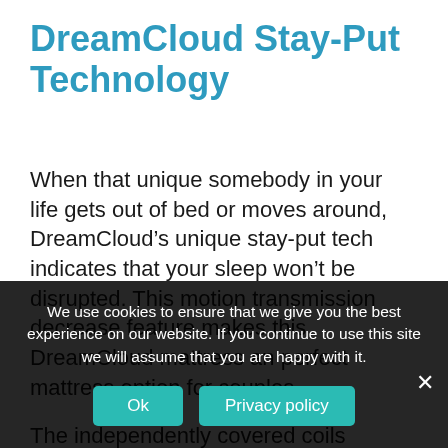DreamCloud Stay-Put Technology
When that unique somebody in your life gets out of bed or moves around, DreamCloud’s unique stay-put tech indicates that your sleep won’t be disrupted. This motion transmission decrease feature makes this DreamCloud mattress an perfect mattress option for couples.
The independently covered coils combat
We use cookies to ensure that we give you the best experience on our website. If you continue to use this site we will assume that you are happy with it.